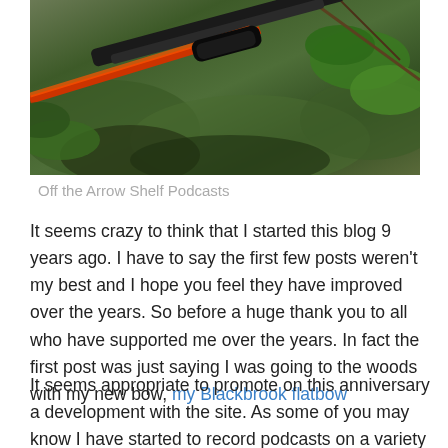[Figure (photo): A crossbow or compound bow with arrows resting on mossy rocks and green foliage in a forest setting]
Off the Arrow Shelf Podcasts
It seems crazy to think that I started this blog 9 years ago. I have to say the first few posts weren't my best and I hope you feel they have improved over the years. So before a huge thank you to all who have supported me over the years. In fact the first post was just saying I was going to the woods with my new bow, my Blackbrook flatbow
It seems appropriate to promote on this anniversary a development with the site. As some of you may know I have started to record podcasts on a variety of topics.